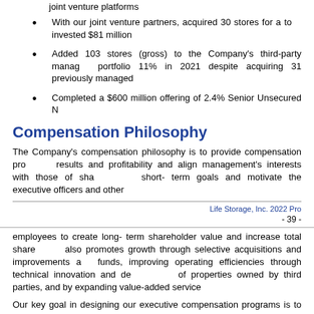joint venture platforms
With our joint venture partners, acquired 30 stores for a total investment; invested $81 million
Added 103 stores (gross) to the Company's third-party managed portfolio 11% in 2021 despite acquiring 31 previously managed
Completed a $600 million offering of 2.4% Senior Unsecured N
Compensation Philosophy
The Company's compensation philosophy is to provide compensation programs that drive results and profitability and align management's interests with those of shareholders, short-term goals and motivate the executive officers and other
Life Storage, Inc. 2022 Pro
- 39 -
employees to create long-term shareholder value and increase total shareholder return; also promotes growth through selective acquisitions and improvements and manages funds, improving operating efficiencies through technical innovation and development of properties owned by third parties, and by expanding value-added services.
Our key goal in designing our executive compensation programs is to incentivize value. The following principles help guide us in designing our pay programs